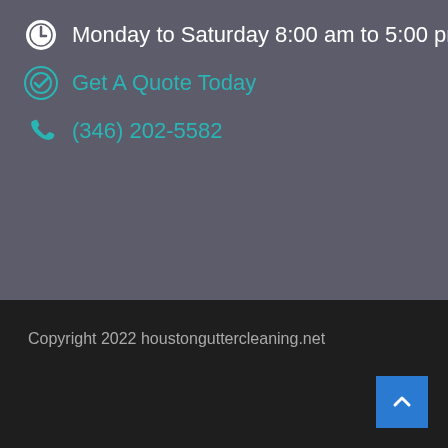Monday to Saturday 8:00 am to 5:00 pm
Get A Quote Today
(346) 202-5582
Copyright 2022 houstonguttercleaning.net